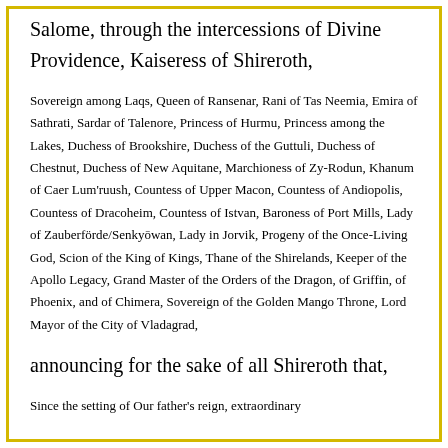Salome, through the intercessions of Divine Providence, Kaiseress of Shireroth,
Sovereign among Laqs, Queen of Ransenar, Rani of Tas Neemia, Emira of Sathrati, Sardar of Talenore, Princess of Hurmu, Princess among the Lakes, Duchess of Brookshire, Duchess of the Guttuli, Duchess of Chestnut, Duchess of New Aquitane, Marchioness of Zy-Rodun, Khanum of Caer Lum'ruush, Countess of Upper Macon, Countess of Andiopolis, Countess of Dracoheim, Countess of Istvan, Baroness of Port Mills, Lady of Zauberförde/Senkyōwan, Lady in Jorvik, Progeny of the Once-Living God, Scion of the King of Kings, Thane of the Shirelands, Keeper of the Apollo Legacy, Grand Master of the Orders of the Dragon, of Griffin, of Phoenix, and of Chimera, Sovereign of the Golden Mango Throne, Lord Mayor of the City of Vladagrad,
announcing for the sake of all Shireroth that,
Since the setting of Our father's reign, extraordinary